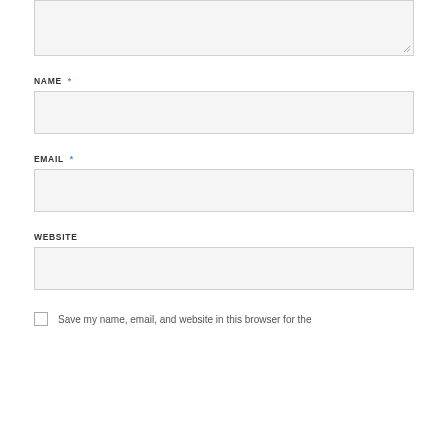[Figure (screenshot): Partial textarea input box at the top of a web comment form]
NAME *
[Figure (screenshot): Text input field for Name]
EMAIL *
[Figure (screenshot): Text input field for Email]
WEBSITE
[Figure (screenshot): Text input field for Website]
Save my name, email, and website in this browser for the